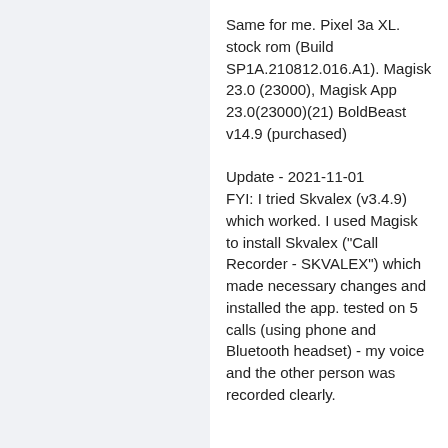Same for me. Pixel 3a XL. stock rom (Build SP1A.210812.016.A1). Magisk 23.0 (23000), Magisk App 23.0(23000)(21) BoldBeast v14.9 (purchased)

Update - 2021-11-01
FYI: I tried Skvalex (v3.4.9) which worked. I used Magisk to install Skvalex ("Call Recorder - SKVALEX") which made necessary changes and installed the app. tested on 5 calls (using phone and Bluetooth headset) - my voice and the other person was recorded clearly.
widowsson
2021-11-01 22:12:43
3
I can confirm (not that confirmation is needed, but...) that Boldbeast 14.9 Pro is not working on my new Google Pixel 6 Pro (Android 12, Build Number SD1A.210817.019.C2).

As a side note, CubeACR does work, albeit not on